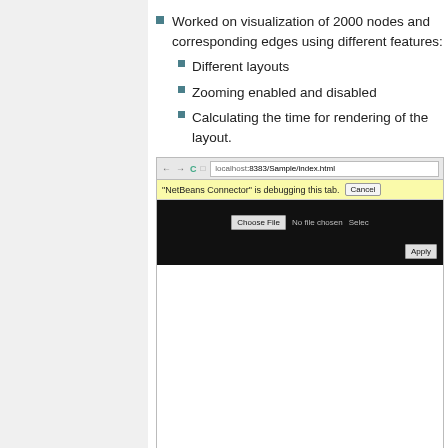Worked on visualization of 2000 nodes and corresponding edges using different features:
Different layouts
Zooming enabled and disabled
Calculating the time for rendering of the layout.
[Figure (screenshot): Browser screenshot showing localhost:8383/Sample/index.html with NetBeans Connector debugging bar, a black panel with Choose File button and Apply button, and a white content area. Below the screenshot is a 'data' label bar.]